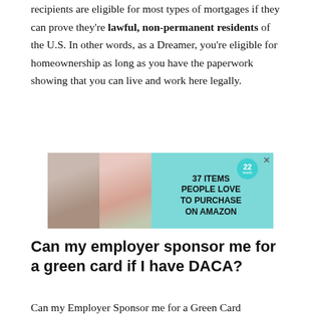recipients are eligible for most types of mortgages if they can prove they're lawful, non-permanent residents of the U.S. In other words, as a Dreamer, you're eligible for homeownership as long as you have the paperwork showing that you can live and work here legally.
[Figure (infographic): Advertisement banner with teal background showing two product images on the left (jewelry/neck photo and a pink device), a circular badge with '22' and a teal circle, and text '37 ITEMS PEOPLE LOVE TO PURCHASE ON AMAZON']
Can my employer sponsor me for a green card if I have DACA?
Can my Employer Sponsor me for a Green Card